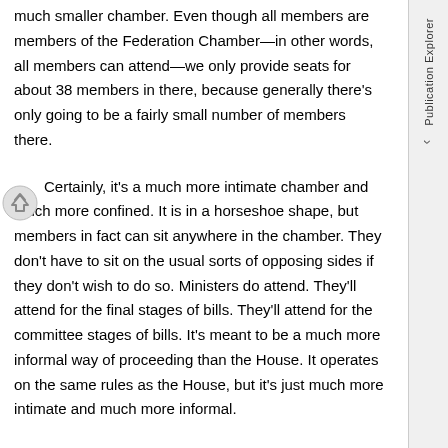much smaller chamber. Even though all members are members of the Federation Chamber—in other words, all members can attend—we only provide seats for about 38 members in there, because generally there's only going to be a fairly small number of members there.
Certainly, it's a much more intimate chamber and much more confined. It is in a horseshoe shape, but members in fact can sit anywhere in the chamber. They don't have to sit on the usual sorts of opposing sides if they don't wish to do so. Ministers do attend. They'll attend for the final stages of bills. They'll attend for the committee stages of bills. It's meant to be a much more informal way of proceeding than the House. It operates on the same rules as the House, but it's just much more intimate and much more informal.